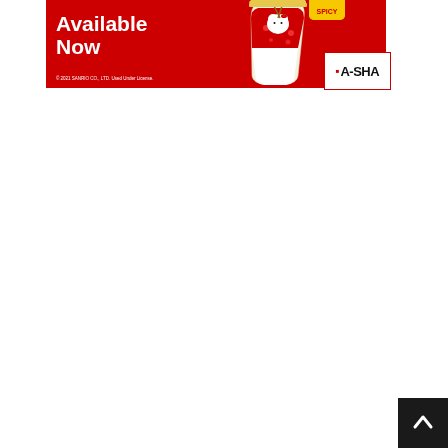[Figure (advertisement): A-SHA brand advertisement banner on red background showing Hello Kitty branded 'Spicy Noodle Soup' cup with text 'Available Now' on the left and A-SHA logo on the right. Copyright line reads '© 2021 SANRIO CO., LTD. Used Under License.']